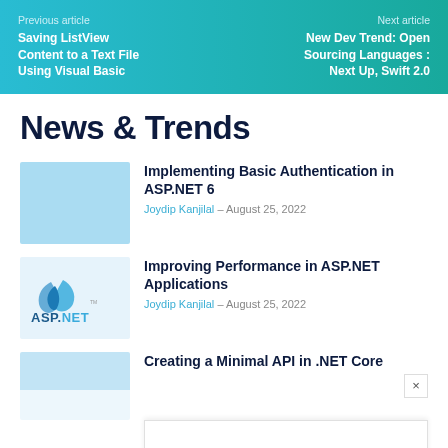Previous article | Saving ListView Content to a Text File Using Visual Basic | Next article | New Dev Trend: Open Sourcing Languages : Next Up, Swift 2.0
News & Trends
Implementing Basic Authentication in ASP.NET 6 | Joydip Kanjilal – August 25, 2022
[Figure (illustration): Light blue placeholder thumbnail for article]
Improving Performance in ASP.NET Applications | Joydip Kanjilal – August 25, 2022
[Figure (logo): ASP.NET logo with blue swoosh icon and ASP.NET text below]
Creating a Minimal API in .NET Core